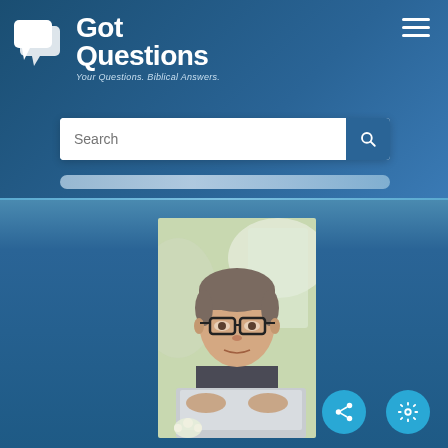[Figure (logo): GotQuestions logo with chat bubble icons and text 'Got Questions - Your Questions. Biblical Answers.']
[Figure (screenshot): Website screenshot of GotQuestions.org showing navigation header with search bar and photo of a middle-aged man with glasses looking at a laptop computer]
[Figure (photo): Middle-aged man with glasses and grey hair looking down at a laptop computer, seated, blurred background]